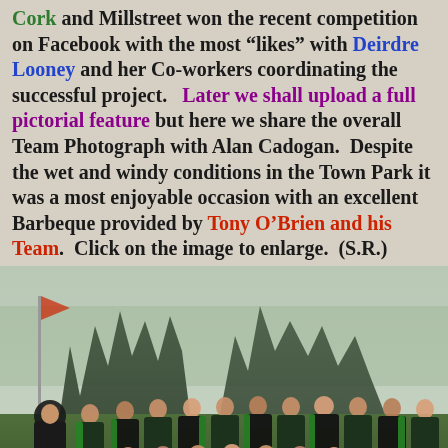Cork and Millstreet won the recent competition on Facebook with the most "likes" with Deirdre Looney and her Co-workers coordinating the successful project. Later we shall upload a full pictorial feature but here we share the overall Team Photograph with Alan Cadogan. Despite the wet and windy conditions in the Town Park it was a most enjoyable occasion with an excellent Barbeque provided by Tony O'Brien and his Team. Click on the image to enlarge. (S.R.)
[Figure (photo): Team photograph of a camogie/hurling team (girls in black and green kits) posing with hurls in a park setting with trees in background.]